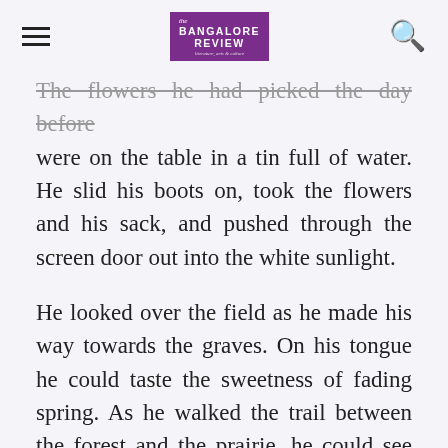The Bangalore Review
The flowers he had picked the day before were on the table in a tin full of water. He slid his boots on, took the flowers and his sack, and pushed through the screen door out into the white sunlight.
He looked over the field as he made his way towards the graves. On his tongue he could taste the sweetness of fading spring. As he walked the trail between the forest and the prairie, he could see what he thought was a gap in the iron gate. Stopping on the path he shaded his dark eyes with his large hand, squinting and struggling to make them focus through the sun's reflections. The next...